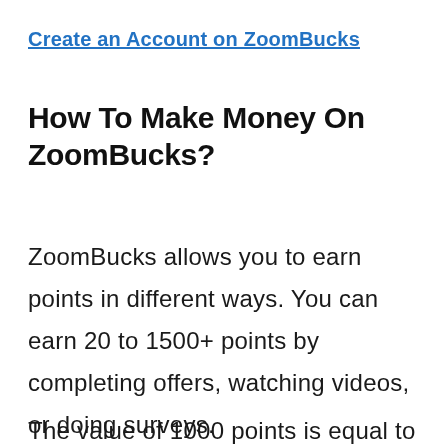Create an Account on ZoomBucks
How To Make Money On ZoomBucks?
ZoomBucks allows you to earn points in different ways. You can earn 20 to 1500+ points by completing offers, watching videos, or doing surveys.
The value of 1000 points is equal to $1